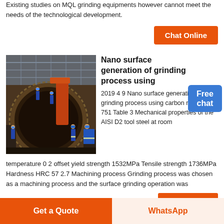Existing studies on MQL grinding equipments however cannot meet the needs of the technological development.
[Figure (other): Button labeled 'Chat Online' with orange background]
[Figure (photo): Industrial grinding mill equipment with workers in blue overalls and helmets working on large machinery inside a warehouse]
Nano surface generation of grinding process using
2019 4 9 Nano surface generation of grinding process using carbon nano tubes 751 Table 3 Mechanical properties of the AISI D2 tool steel at room temperature 0 2 offset yield strength 1532MPa Tensile strength 1736MPa Hardness HRC 57 2.7 Machining process Grinding process was chosen as a machining process and the surface grinding operation was
[Figure (other): Badge with blue background labeled 'Free chat']
[Figure (other): Orange rectangle button partially visible]
[Figure (other): Button labeled 'Get a Quote' with orange background]
[Figure (other): Button labeled 'WhatsApp' with light orange background and orange text]